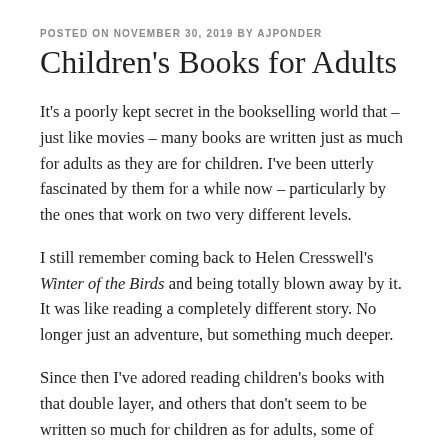POSTED ON NOVEMBER 30, 2019 BY AJPONDER
Children's Books for Adults
It's a poorly kept secret in the bookselling world that – just like movies – many books are written just as much for adults as they are for children. I've been utterly fascinated by them for a while now – particularly by the ones that work on two very different levels.
I still remember coming back to Helen Cresswell's Winter of the Birds and being totally blown away by it. It was like reading a completely different story. No longer just an adventure, but something much deeper.
Since then I've adored reading children's books with that double layer, and others that don't seem to be written so much for children as for adults, some of them probably